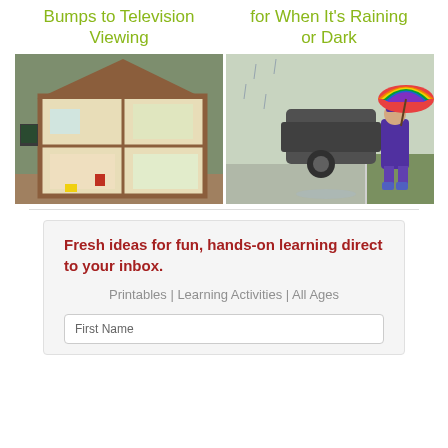Bumps to Television Viewing  for When It's Raining or Dark
[Figure (photo): A wooden dollhouse with miniature furniture and decorations inside, displayed against a green wall]
[Figure (photo): A young child in a purple coat and boots holding a rainbow umbrella on a wet sidewalk in the rain]
Fresh ideas for fun, hands-on learning direct to your inbox.
Printables | Learning Activities | All Ages
First Name